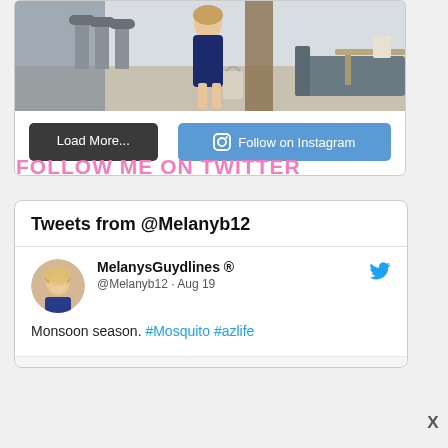[Figure (photo): Instagram photo showing a person in a navy blue dress standing in what appears to be an outdoor patio area with bar stools and furniture]
Load More...
Follow on Instagram
FOLLOW ME ON TWITTER
Tweets from @Melanyb12
MelanysGuydlines ®
@Melanyb12 · Aug 19
Monsoon season. #Mosquito #azlife